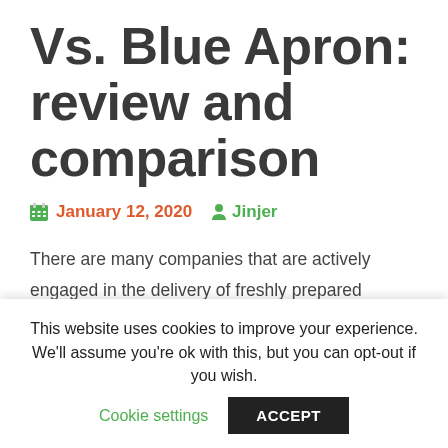Vs. Blue Apron: review and comparison
January 12, 2020   Jinjer
There are many companies that are actively engaged in the delivery of freshly prepared meals. It is a very competitive medium
This website uses cookies to improve your experience. We'll assume you're ok with this, but you can opt-out if you wish.
Cookie settings   ACCEPT